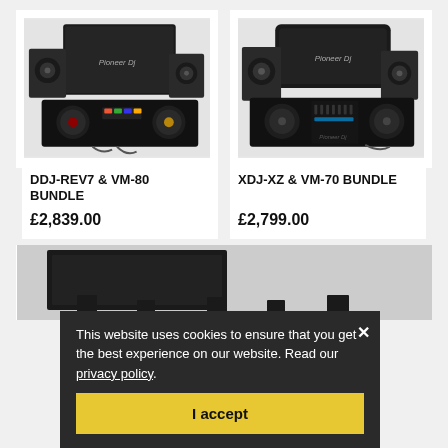[Figure (photo): DDJ-REV7 DJ controller with VM-80 speakers and Pioneer DJ flight case bundle product photo]
[Figure (photo): XDJ-XZ DJ system with VM-70 speakers and Pioneer DJ bag bundle product photo]
DDJ-REV7 & VM-80 BUNDLE
XDJ-XZ & VM-70 BUNDLE
£2,839.00
£2,799.00
[Figure (photo): Partial view of another Pioneer DJ product bundle at bottom of page]
This website uses cookies to ensure that you get the best experience on our website. Read our privacy policy.
I accept